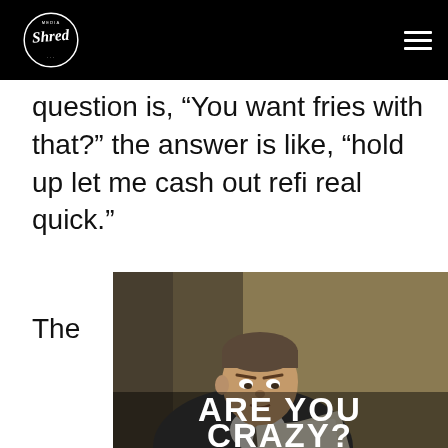Shred (logo) — navigation header
question is, “You want fries with that?” the answer is like, “hold up let me cash out refi real quick.”
The
[Figure (photo): A man in a suit looking at papers with a concerned expression, overlaid with bold white text reading ARE YOU CRAZY?]